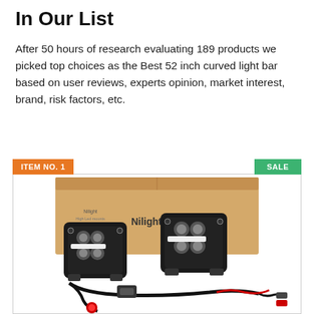In Our List
After 50 hours of research evaluating 189 products we picked top choices as the Best 52 inch curved light bar based on user reviews, experts opinion, market interest, brand, risk factors, etc.
ITEM NO. 1
SALE
[Figure (photo): Two Nilight LED pod lights (black square off-road lights with multiple LED elements and white strip COB emitter) with a wiring harness including relay, switch, and connectors, displayed in front of a cardboard box with Nilight branding.]